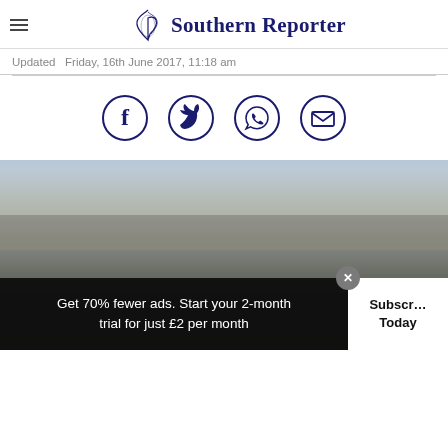Southern Reporter
Updated  Friday, 16th June 2017, 11:18 am
[Figure (illustration): Social sharing icons: Facebook, Twitter, WhatsApp, Email — dark blue circle outlines]
[Figure (photo): Large group of people standing outdoors in front of residential houses on a cloudy day]
Get 70% fewer ads. Start your 2-month trial for just £2 per month
Subscribe Today